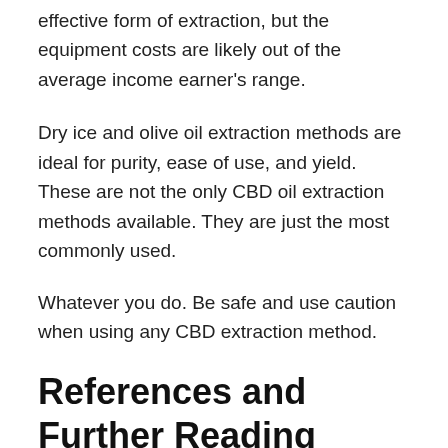effective form of extraction, but the equipment costs are likely out of the average income earner's range.
Dry ice and olive oil extraction methods are ideal for purity, ease of use, and yield. These are not the only CBD oil extraction methods available. They are just the most commonly used.
Whatever you do. Be safe and use caution when using any CBD extraction method.
References and Further Reading
1. Review of the neurological benefits of